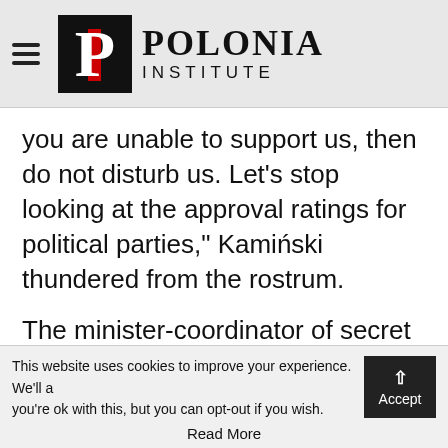Polonia Institute
you are unable to support us, then do not disturb us. Let’s stop looking at the approval ratings for political parties,” Kamiński thundered from the rostrum.
The minister-coordinator of secret services also argued that Poland has tried to respond to events in advance. He informed that the first steps to
This website uses cookies to improve your experience. We’ll assume you’re ok with this, but you can opt-out if you wish.
Read More